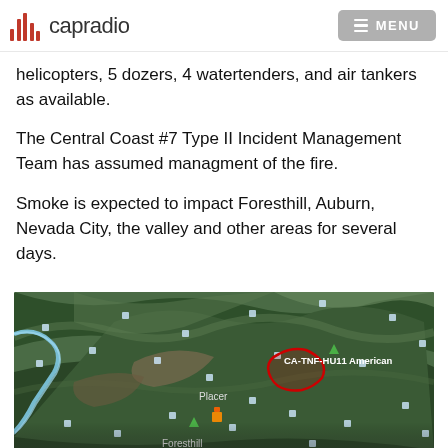capradio  MENU
helicopters, 5 dozers, 4 watertenders, and air tankers as available.
The Central Coast #7 Type II Incident Management Team has assumed managment of the fire.
Smoke is expected to impact Foresthill, Auburn, Nevada City, the valley and other areas for several days.
[Figure (map): Satellite map showing forested mountainous terrain with a red outlined area marked CA-TNF-HU11 American, and labels for Placer and Foresthill regions.]